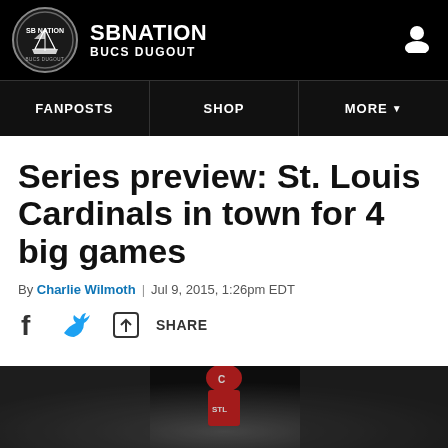SB NATION — BUCS DUGOUT
FANPOSTS | SHOP | MORE
Series preview: St. Louis Cardinals in town for 4 big games
By Charlie Wilmoth | Jul 9, 2015, 1:26pm EDT
[Figure (photo): Baseball player in Cardinals uniform, nighttime game photo]